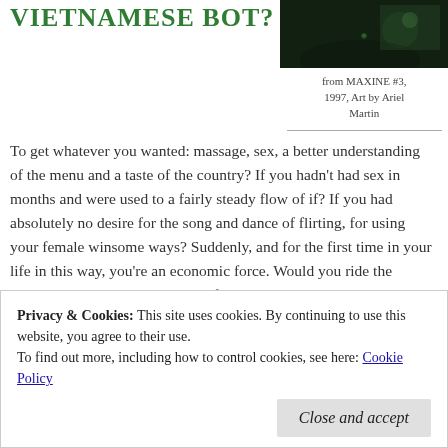VIETNAMESE BOT?
[Figure (photo): Dark greenish photo, partially visible, appears to be a person or face in low light]
from MAXINE #3, 1997, Art by Ariel Martin
To get whatever you wanted: massage, sex, a better understanding of the menu and a taste of the country? If you hadn't had sex in months and were used to a fairly steady flow of if? If you had absolutely no desire for the song and dance of flirting, for using your female winsome ways? Suddenly, and for the first time in your life in this way, you're an economic force. Would you ride the exchange rate astride some paid-for-hips? Given the impossible, or course. Assuming it was safe.
Privacy & Cookies: This site uses cookies. By continuing to use this website, you agree to their use.
To find out more, including how to control cookies, see here: Cookie Policy